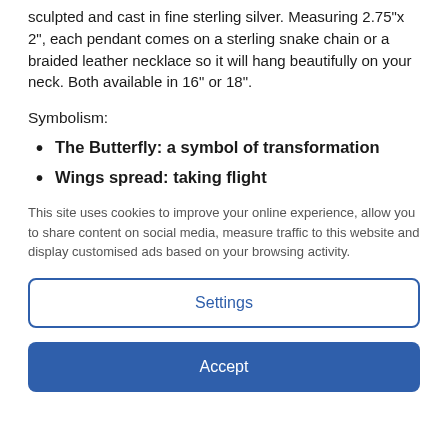sculpted and cast in fine sterling silver. Measuring 2.75"x 2", each pendant comes on a sterling snake chain or a braided leather necklace so it will hang beautifully on your neck. Both available in 16" or 18".
Symbolism:
The Butterfly: a symbol of transformation
Wings spread: taking flight
This site uses cookies to improve your online experience, allow you to share content on social media, measure traffic to this website and display customised ads based on your browsing activity.
Settings
Accept